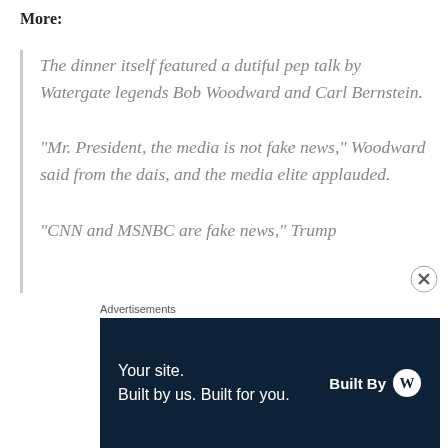More:
The dinner itself featured a dutiful pep talk by Watergate legends Bob Woodward and Carl Bernstein.

“Mr. President, the media is not fake news,” Woodward said from the dais, and the media elite applauded.

“CNN and MSNBC are fake news,” Trump
Advertisements
[Figure (other): Dark navy blue advertisement banner reading 'Your site. Built by us. Built for you.' with 'Built By W' logo on the right]